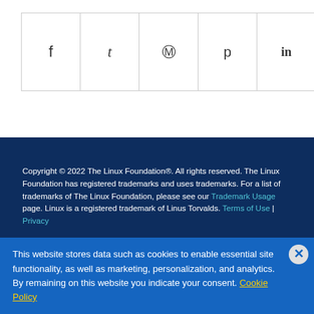[Figure (other): Social share buttons row with icons for Facebook, Twitter, WhatsApp, Pinterest, LinkedIn, Tumblr, VK, Reddit, and Email]
Copyright © 2022 The Linux Foundation®. All rights reserved. The Linux Foundation has registered trademarks and uses trademarks. For a list of trademarks of The Linux Foundation, please see our Trademark Usage page. Linux is a registered trademark of Linus Torvalds. Terms of Use | Privacy
This website stores data such as cookies to enable essential site functionality, as well as marketing, personalization, and analytics. By remaining on this website you indicate your consent. Cookie Policy